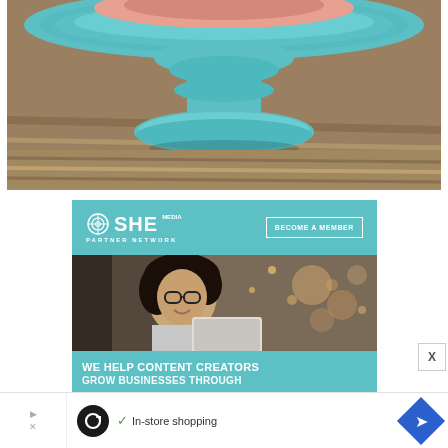[Figure (photo): Close-up photo of a teal/turquoise decorative cake stand pedestal on a wooden surface. The top of the stand is visible with a ridged/scalloped rim and a rounded base.]
[Figure (infographic): SHE Media Partner Network advertisement. Teal background with SHE Media logo and 'BECOME A MEMBER' button. Below is a photo of a smiling woman with glasses working on a laptop. Bottom text reads 'WE HELP CONTENT CREATORS GROW BUSINESSES THROUGH'.]
[Figure (infographic): Bottom advertisement bar with Loops app icon showing a loop symbol, checkmark and 'In-store shopping' text, and a blue diamond navigation icon. Small 'X' close button and play button icon on left side.]